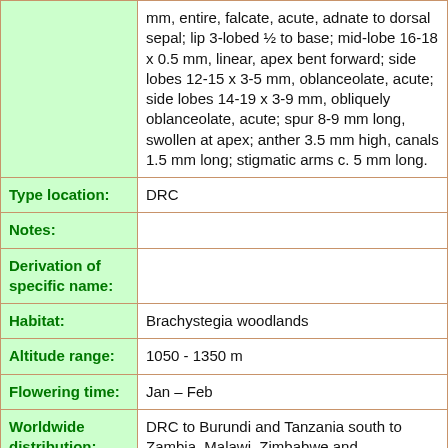| Field | Value |
| --- | --- |
|  | mm, entire, falcate, acute, adnate to dorsal sepal; lip 3-lobed ½ to base; mid-lobe 16-18 x 0.5 mm, linear, apex bent forward; side lobes 12-15 x 3-5 mm, oblanceolate, acute; side lobes 14-19 x 3-9 mm, obliquely oblanceolate, acute; spur 8-9 mm long, swollen at apex; anther 3.5 mm high, canals 1.5 mm long; stigmatic arms c. 5 mm long. |
| Type location: | DRC |
| Notes: |  |
| Derivation of specific name: |  |
| Habitat: | Brachystegia woodlands |
| Altitude range: | 1050 - 1350 m |
| Flowering time: | Jan – Feb |
| Worldwide distribution: | DRC to Burundi and Tanzania south to Zambia, Malawi, Zimbabwe and |